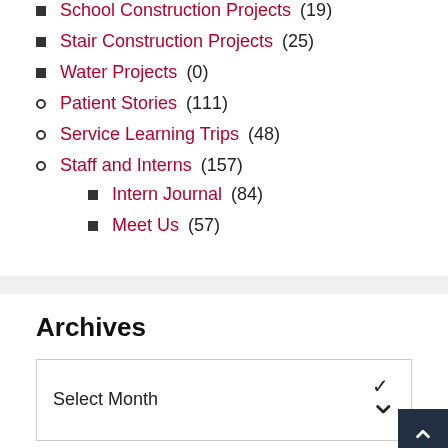School Construction Projects (19)
Stair Construction Projects (25)
Water Projects (0)
Patient Stories (111)
Service Learning Trips (48)
Staff and Interns (157)
Intern Journal (84)
Meet Us (57)
Archives
Select Month